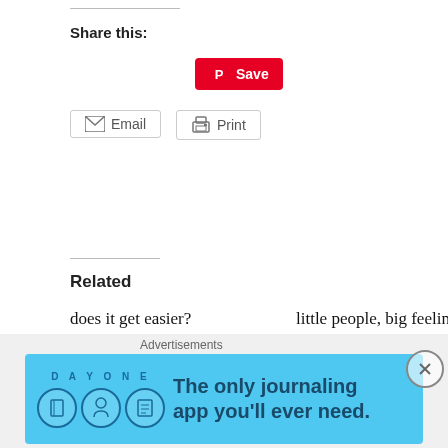Share this:
[Figure (screenshot): Pinterest Save button (red background, Pinterest logo, 'Save' text)]
[Figure (screenshot): Email share button with envelope icon]
[Figure (screenshot): Print button with printer icon]
Related
does it get easier?
July 19, 2013
In "Parenthood"
little people, big feelings
October 29, 2014
In "Parenthood"
happy birthday, bufflogals!
March 28, 2014
In "Parenthood"
Advertisements
[Figure (screenshot): Day One journaling app advertisement banner on light blue background. Text reads: DAY ONE - The only journaling app you'll ever need.]